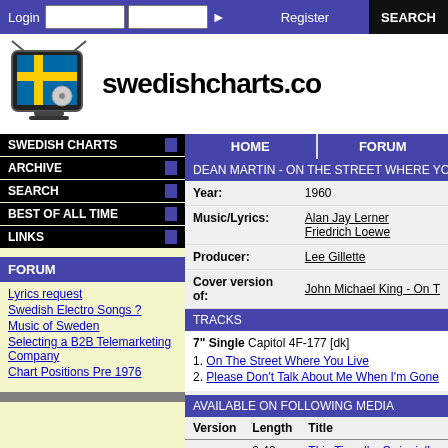Login | Register | SEARCH
[Figure (logo): Swedishcharts.com logo with Swedish flag TV icon]
SWEDISH CHARTS
ARCHIVE
SEARCH
BEST OF ALL TIME
LINKS
FORUM
Lyrics request
Swedish Electro Songs ?
Music of Sweden
Selecting a B2B Telemarketing Company
Chart Positions Pre 1976
HOME | FORUM
DEAN MARTIN - ON THE STREET WHERE YOU
| Field | Value |
| --- | --- |
| Year: | 1960 |
| Music/Lyrics: | Alan Jay Lerner
Friedrich Loewe |
| Producer: | Lee Gillette |
| Cover version of: | John Michael King - On T |
TRACKS
7" Single Capitol 4F-177 [dk]
1. On The Street Where You Live
2. Please Don't Talk About Me When I'm Gone
AVAILABLE ON FOLLOWING MEDIA
| Version | Length | Title |
| --- | --- | --- |
|  | 3:43 | This Time I'm Swingin'! |
|  |  | On The Street Where You |